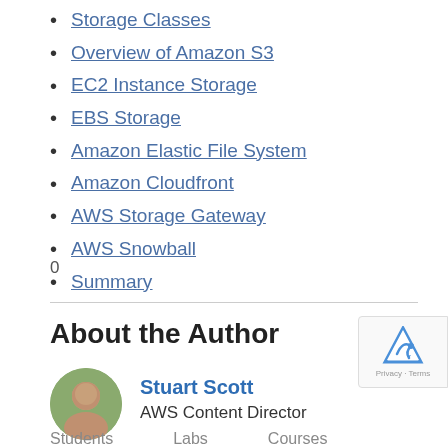Storage Classes
Overview of Amazon S3
EC2 Instance Storage
EBS Storage
Amazon Elastic File System
Amazon Cloudfront
AWS Storage Gateway
AWS Snowball
Summary
0
About the Author
Stuart Scott
AWS Content Director
Students    Labs    Courses